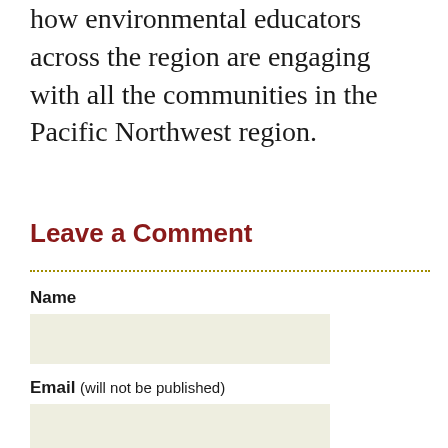how environmental educators across the region are engaging with all the communities in the Pacific Northwest region.
Leave a Comment
Name
Email (will not be published)